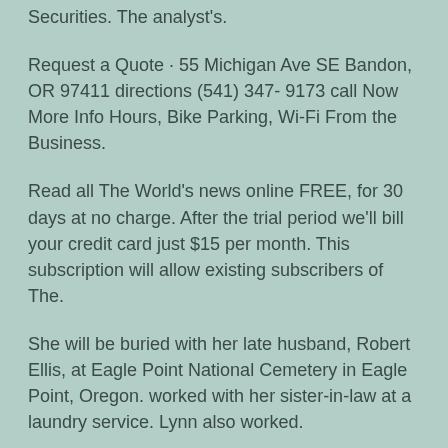Securities. The analyst's.
Request a Quote · 55 Michigan Ave SE Bandon, OR 97411 directions (541) 347- 9173 call Now More Info Hours, Bike Parking, Wi-Fi From the Business.
Read all The World's news online FREE, for 30 days at no charge. After the trial period we'll bill your credit card just $15 per month. This subscription will allow existing subscribers of The.
She will be buried with her late husband, Robert Ellis, at Eagle Point National Cemetery in Eagle Point, Oregon. worked with her sister-in-law at a laundry service. Lynn also worked.
We were awarded two Technical Assistance Program